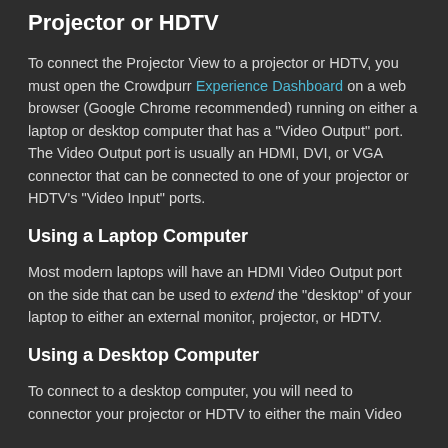Projector or HDTV
To connect the Projector View to a projector or HDTV, you must open the Crowdpurr Experience Dashboard on a web browser (Google Chrome recommended) running on either a laptop or desktop computer that has a "Video Output" port. The Video Output port is usually an HDMI, DVI, or VGA connector that can be connected to one of your projector or HDTV's "Video Input" ports.
Using a Laptop Computer
Most modern laptops will have an HDMI Video Output port on the side that can be used to extend the "desktop" of your laptop to either an external monitor, projector, or HDTV.
Using a Desktop Computer
To connect to a desktop computer, you will need to connector your projector or HDTV to either the main Video